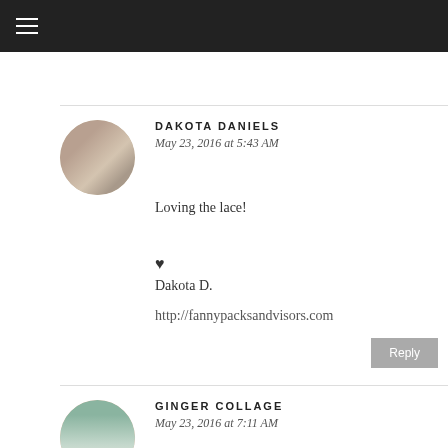[Figure (photo): Circular avatar photo of Dakota Daniels]
DAKOTA DANIELS
May 23, 2016 at 5:43 AM
Loving the lace!
♥
Dakota D.
http://fannypacksandvisors.com
[Figure (photo): Circular avatar photo of Ginger Collage]
GINGER COLLAGE
May 23, 2016 at 7:11 AM